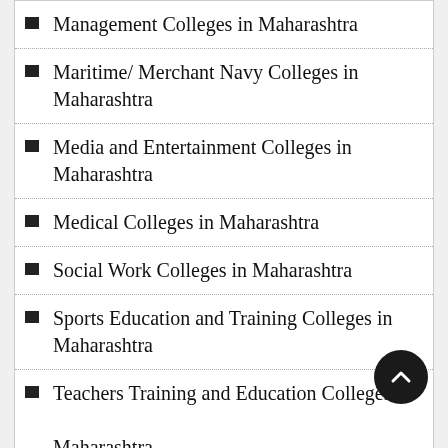Management Colleges in Maharashtra
Maritime/ Merchant Navy Colleges in Maharashtra
Media and Entertainment Colleges in Maharashtra
Medical Colleges in Maharashtra
Social Work Colleges in Maharashtra
Sports Education and Training Colleges in Maharashtra
Teachers Training and Education Colleges in Maharashtra
Training/ Coaching/ Research Colleges in Maharashtra
Travel, Tourism, Hotel and Hospitality Management Colleges in Maharashtra